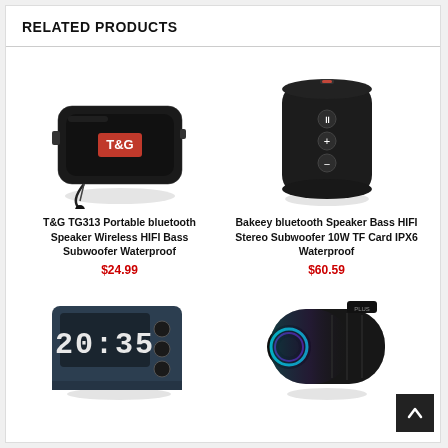RELATED PRODUCTS
[Figure (photo): T&G TG313 portable bluetooth speaker, black rectangular design with TG logo and wrist strap]
T&G TG313 Portable bluetooth Speaker Wireless HIFI Bass Subwoofer Waterproof
$24.99
[Figure (photo): Bakeey cylindrical black bluetooth speaker with control buttons on side]
Bakeey bluetooth Speaker Bass HIFI Stereo Subwoofer 10W TF Card IPX6 Waterproof
$60.59
[Figure (photo): Black digital alarm clock with LED display showing 20:35]
[Figure (photo): Black portable bluetooth speaker with RGB ring light]